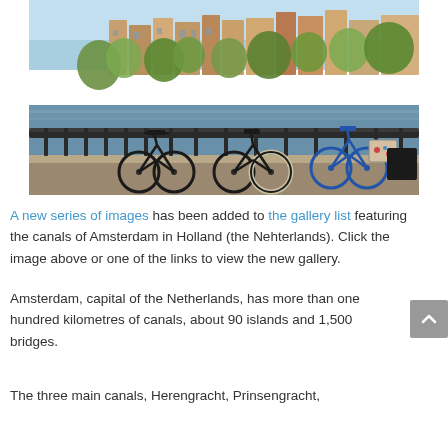[Figure (photo): Photograph of bicycles parked along a railing on an Amsterdam canal, with trees lining the waterway and traditional Dutch buildings in the background.]
A new series of images has been added to the gallery list featuring the canals of Amsterdam in Holland (the Nehterlands). Click the image above or one of the links to view the new gallery.
Amsterdam, capital of the Netherlands, has more than one hundred kilometres of canals, about 90 islands and 1,500 bridges.
The three main canals, Herengracht, Prinsengracht,